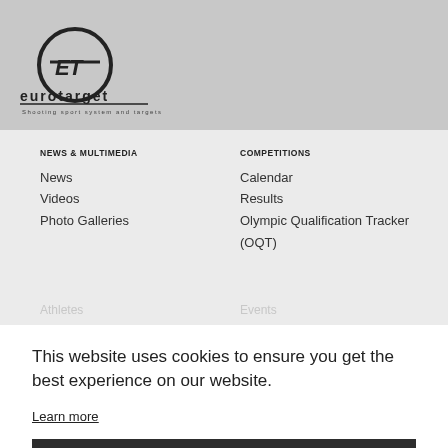[Figure (logo): Eurotarget logo with circular ET emblem and text 'eurotarget - Shooting sport system and targets']
NEWS & MULTIMEDIA
News
Videos
Photo Galleries
COMPETITIONS
Calendar
Results
Olympic Qualification Tracker (OQT)
This website uses cookies to ensure you get the best experience on our website.
Learn more
Got it!